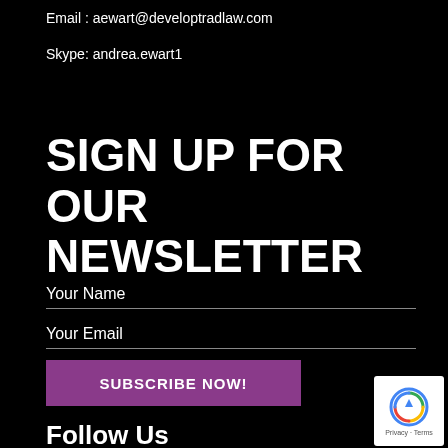Email : aewart@developtradlaw.com
Skype: andrea.ewart1
SIGN UP FOR OUR NEWSLETTER
Your Name
Your Email
SUBSCRIBE NOW!
Follow Us
[Figure (other): reCAPTCHA badge with privacy and terms links]